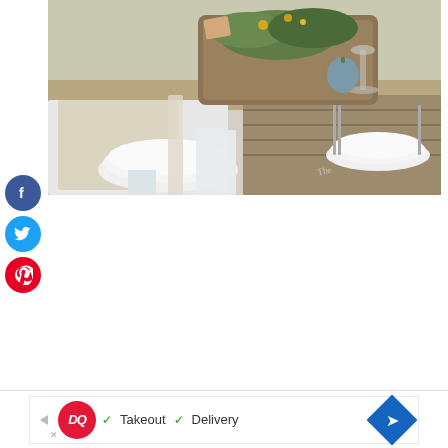[Figure (photo): Overhead view of a rustic farm table setting with white plates, silverware, beaded placemats, a wooden tray centerpiece with greenery and yellow flowers, wine glasses, and a white linen napkin draped over a wooden bench.]
[Figure (infographic): Three social media share buttons stacked vertically on the left side: Facebook (dark blue circle with f), Twitter (light blue circle with bird icon), Pinterest (red circle with P icon).]
[Figure (screenshot): Dairy Queen advertisement banner at the bottom. Shows DQ logo (red circle), checkmarks next to 'Takeout' and 'Delivery' text, and a blue diamond navigation arrow on the right.]